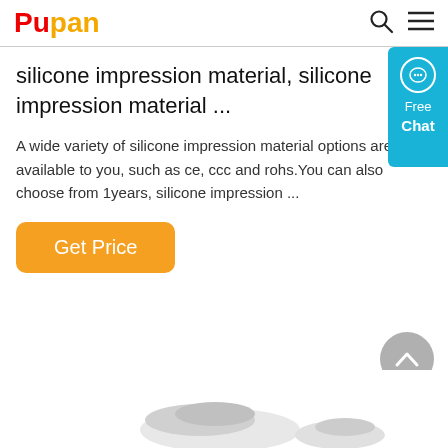Pupan
silicone impression material, silicone impression material ...
A wide variety of silicone impression material options are available to you, such as ce, ccc and rohs.You can also choose from 1years, silicone impression ...
Get Price
[Figure (photo): Partial product images at the bottom of the page showing silicone impression material products]
[Figure (other): Free Chat widget on the right side with speech bubble icon]